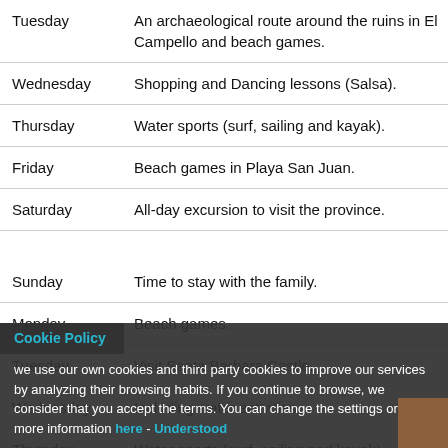| Day | Activity |
| --- | --- |
| Tuesday | An archaeological route around the ruins in El Campello and beach games. |
| Wednesday | Shopping and Dancing lessons (Salsa). |
| Thursday | Water sports (surf, sailing and kayak). |
| Friday | Beach games in Playa San Juan. |
| Saturday | All-day excursion to visit the province. |
| Sunday | Time to stay with the family. |
| Monday | Beach games. |
| Tuesday | Visit Santa Barbara Castle. |
| Wednesday | Including water activities. |
| Thursday | Water sports (surf, sailing and kayak). |
Cookie Policy — we use our own cookies and third party cookies to improve our services by analyzing their browsing habits. If you continue to browse, we consider that you accept the terms. You can change the settings or get more information here - Understood